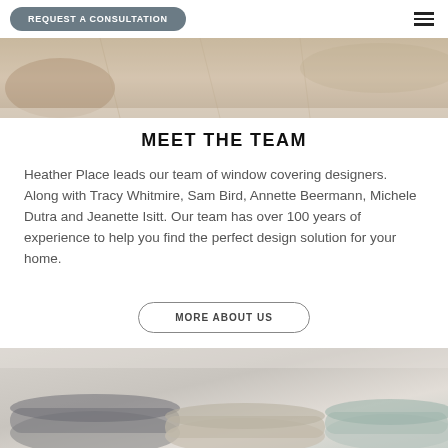REQUEST A CONSULTATION
[Figure (photo): Close-up photo of fabric rolls or window covering materials in neutral beige/cream tones, partially visible at top of page]
MEET THE TEAM
Heather Place leads our team of window covering designers. Along with Tracy Whitmire, Sam Bird, Annette Beermann, Michele Dutra and Jeanette Isitt. Our team has over 100 years of experience to help you find the perfect design solution for your home.
MORE ABOUT US
[Figure (photo): Close-up photo of rolled fabric swatches in neutral grey, beige, cream and light blue tones stacked together]